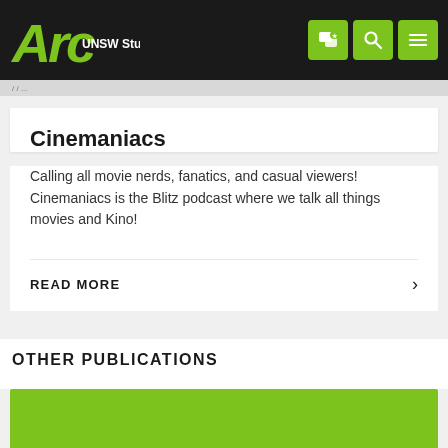Arc UNSW Student Life
Cinemaniacs
Calling all movie nerds, fanatics, and casual viewers! Cinemaniacs is the Blitz podcast where we talk all things movies and Kino!
READ MORE
OTHER PUBLICATIONS
[Figure (illustration): Green color block image placeholder for Other Publications section]